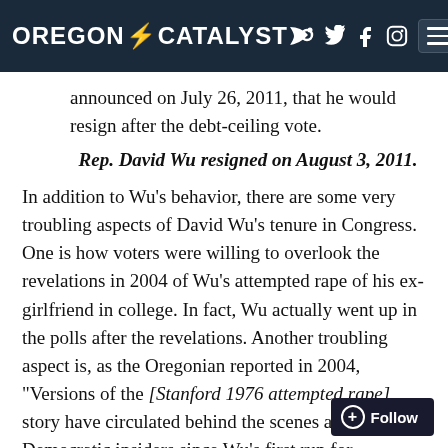OREGON CATALYST
announced on July 26, 2011, that he would resign after the debt-ceiling vote.
Rep. David Wu resigned on August 3, 2011.
In addition to Wu's behavior, there are some very troubling aspects of David Wu's tenure in Congress. One is how voters were willing to overlook the revelations in 2004 of Wu's attempted rape of his ex-girlfriend in college. In fact, Wu actually went up in the polls after the revelations. Another troubling aspect is, as the Oregonian reported in 2004, "Versions of the [Stanford 1976 attempted rape] story have circulated behind the scenes among Democratic insiders since Wu's first run for Congress in 1998". Democratic insiders have known of Wu's troubles since 1998.